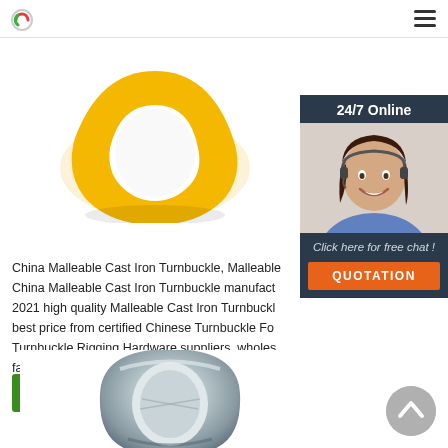[Figure (photo): Yellow malleable cast iron ring/turnbuckle component, partially visible at top of page]
[Figure (photo): 24/7 Online chat widget with a female customer service agent wearing a headset, smiling, with a 'Click here for free chat!' message and orange QUOTATION button]
China Malleable Cast Iron Turnbuckle, Malleable China Malleable Cast Iron Turnbuckle manufact 2021 high quality Malleable Cast Iron Turnbuckl best price from certified Chinese Turnbuckle Fo Turnbuckle Rigging Hardware suppliers, wholes factory on Made-in-China.com
[Figure (illustration): Green 'Get Price' button]
[Figure (photo): Silver/chrome malleable cast iron ring/eye nut component at bottom of page]
[Figure (illustration): Gray scroll-to-top arrow button (chevron up) in bottom right corner]